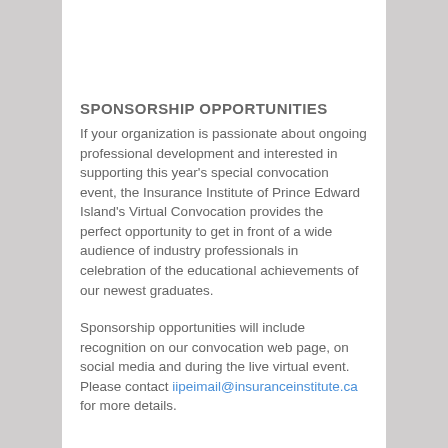SPONSORSHIP OPPORTUNITIES
If your organization is passionate about ongoing professional development and interested in supporting this year's special convocation event, the Insurance Institute of Prince Edward Island's Virtual Convocation provides the perfect opportunity to get in front of a wide audience of industry professionals in celebration of the educational achievements of our newest graduates.
Sponsorship opportunities will include recognition on our convocation web page, on social media and during the live virtual event. Please contact iipeimail@insuranceinstitute.ca for more details.